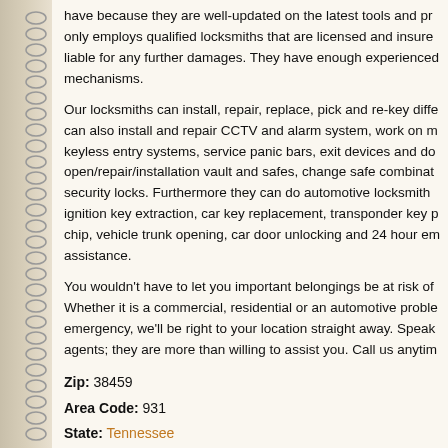have because they are well-updated on the latest tools and pr only employs qualified locksmiths that are licensed and insure liable for any further damages. They have enough experienced mechanisms.
Our locksmiths can install, repair, replace, pick and re-key diffe can also install and repair CCTV and alarm system, work on m keyless entry systems, service panic bars, exit devices and do open/repair/installation vault and safes, change safe combinat security locks. Furthermore they can do automotive locksmith ignition key extraction, car key replacement, transponder key p chip, vehicle trunk opening, car door unlocking and 24 hour em assistance.
You wouldn't have to let you important belongings be at risk of Whether it is a commercial, residential or an automotive proble emergency, we'll be right to your location straight away. Speak agents; they are more than willing to assist you. Call us anytim
Zip: 38459
Area Code: 931
State: Tennessee
Locksmiths near Frankewing TN